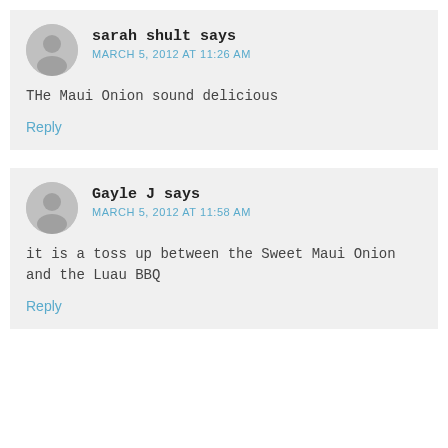sarah shult says
MARCH 5, 2012 AT 11:26 AM
THe Maui Onion sound delicious
Reply
Gayle J says
MARCH 5, 2012 AT 11:58 AM
it is a toss up between the Sweet Maui Onion and the Luau BBQ
Reply